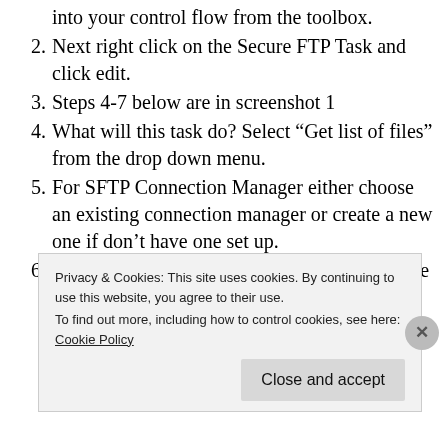into your control flow from the toolbox.
2. Next right click on the Secure FTP Task and click edit.
3. Steps 4-7 below are in screenshot 1
4. What will this task do? Select “Get list of files” from the drop down menu.
5. For SFTP Connection Manager either choose an existing connection manager or create a new one if don’t have one set up.
6. For your Directory location on server you have two options:
1. First you can choose to click the ellipsis
Privacy & Cookies: This site uses cookies. By continuing to use this website, you agree to their use. To find out more, including how to control cookies, see here: Cookie Policy
Close and accept